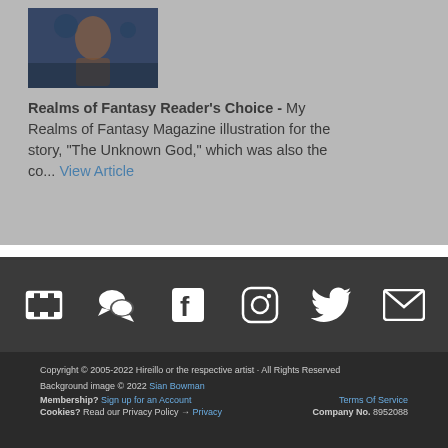[Figure (photo): Thumbnail illustration showing a fantasy scene with blue/dark tones]
Realms of Fantasy Reader's Choice - My Realms of Fantasy Magazine illustration for the story, "The Unknown God," which was also the co... View Article
[Figure (infographic): Social media icons row: film/video, chat/forum, Facebook, Instagram, Twitter, email/envelope]
Copyright © 2005-2022 Hireillo or the respective artist · All Rights Reserved
Background image © 2022 Sian Bowman
Membership? Sign up for an Account    Terms Of Service
Cookies? Read our Privacy Policy → Privacy    Company No. 8952088